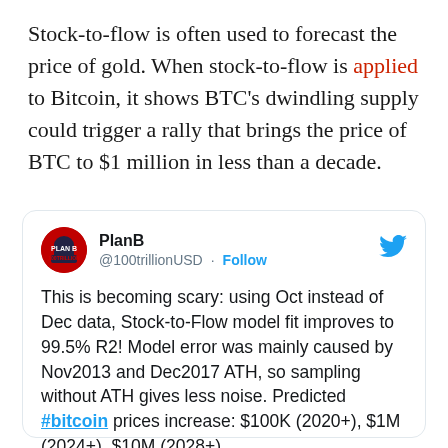Stock-to-flow is often used to forecast the price of gold. When stock-to-flow is applied to Bitcoin, it shows BTC's dwindling supply could trigger a rally that brings the price of BTC to $1 million in less than a decade.
[Figure (screenshot): Tweet from @100trillionUSD (PlanB) saying: This is becoming scary: using Oct instead of Dec data, Stock-to-Flow model fit improves to 99.5% R2! Model error was mainly caused by Nov2013 and Dec2017 ATH, so sampling without ATH gives less noise. Predicted #bitcoin prices increase: $100K (2020+), $1M (2024+), $10M (2028+)...]